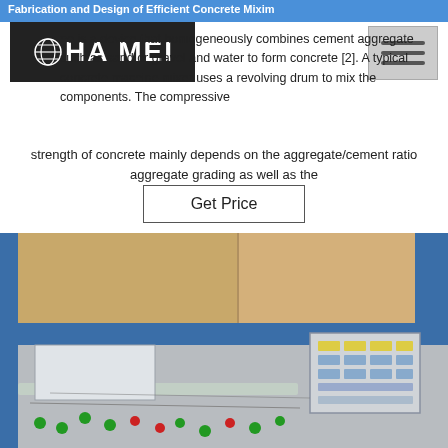Fabrication and Design of Efficient Concrete Mixim
[Figure (logo): HAOMEI company logo with globe icon on dark background]
ne is a device that homogeneously combines cement aggregate such as sand or gravel and water to form concrete [2]. A typical concrete machine mixer uses a revolving drum to mix the components. The compressive strength of concrete mainly depends on the aggregate/cement ratio aggregate grading as well as the
Get Price
[Figure (photo): Industrial concrete mixer control panel and equipment in a workshop with blue structural poles and cardboard boxes in the background]